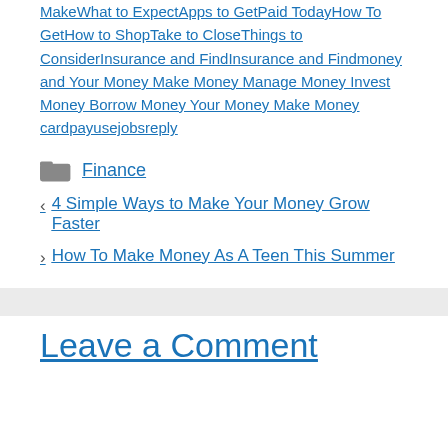MakeWhat to ExpectApps to GetPaid TodayHow To GetHow to ShopTake to CloseThings to ConsiderInsurance and FindInsurance and Findmoney and Your Money Make Money Manage Money Invest Money Borrow Money Your Money Make Money cardpayusejobsreply
Finance
4 Simple Ways to Make Your Money Grow Faster
How To Make Money As A Teen This Summer
Leave a Comment